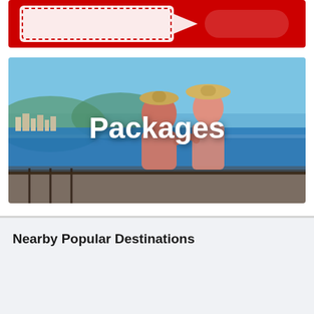[Figure (illustration): Red banner/coupon with white dashed border outline and partial white ticket shape visible at top]
[Figure (photo): Two people in coral/pink clothing viewed from behind, arm-in-arm, looking out over a coastal Mediterranean city (resembling Dubrovnik) with blue sea, white buildings, green hills, and blue sky. White bold text 'Packages' overlaid in center.]
Nearby Popular Destinations
Flights to Auckland
Flights to Sydney